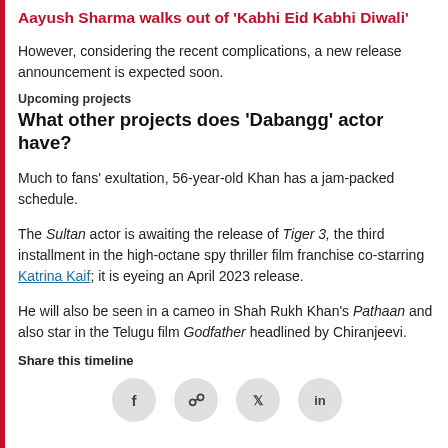Aayush Sharma walks out of 'Kabhi Eid Kabhi Diwali'
However, considering the recent complications, a new release announcement is expected soon.
Upcoming projects
What other projects does 'Dabangg' actor have?
Much to fans' exultation, 56-year-old Khan has a jam-packed schedule.
The Sultan actor is awaiting the release of Tiger 3, the third installment in the high-octane spy thriller film franchise co-starring Katrina Kaif; it is eyeing an April 2023 release.
He will also be seen in a cameo in Shah Rukh Khan's Pathaan and also star in the Telugu film Godfather headlined by Chiranjeevi.
Share this timeline
[Figure (other): Social sharing icons: Facebook (f), WhatsApp, Twitter (bird), LinkedIn (in)]